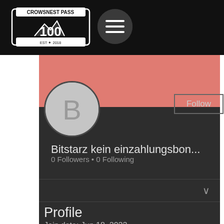[Figure (logo): Crowsnest Pass 100 logo — white badge with mountain illustration, EST 2018 text, on black background]
[Figure (screenshot): Hamburger menu icon button — three horizontal lines on a dark circular button]
[Figure (illustration): User profile avatar — circle with letter B on grey background]
Bitstarz kein einzahlungsbon...
0 Followers • 0 Following
Profile
Join date: Jun 18, 2022